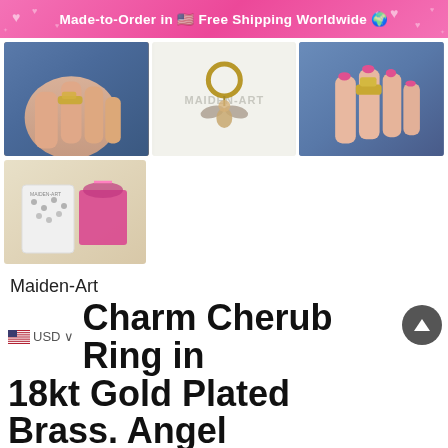Made-to-Order in 🇺🇸 Free Shipping Worldwide 🌍
[Figure (photo): Three product photos in a row: left shows a hand wearing a gold charm cherub ring, center shows the ring as a standalone keychain on white background with 'MAIDEN-ART' watermark, right shows a hand wearing the ring from a different angle]
[Figure (photo): Product packaging photo showing a gift pouch and branded packaging materials including a white sleeve and pink organza gift bag]
Maiden-Art
🇺🇸 USD ∨ Charm Cherub Ring in 18kt Gold Plated Brass. Angel